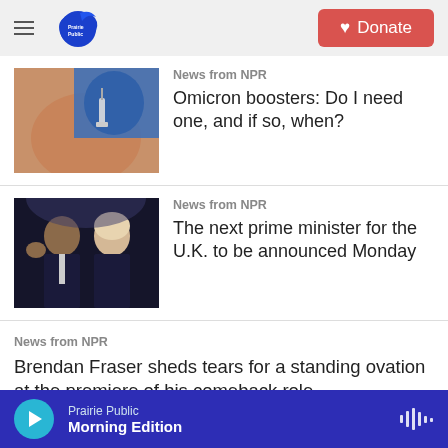Prairie Public | Donate
[Figure (photo): Close-up of a person receiving a vaccine injection in the arm, administered by someone wearing blue gloves]
News from NPR
Omicron boosters: Do I need one, and if so, when?
[Figure (photo): Two people on a dark stage, one man in a suit waving, one woman in dark clothing standing beside him]
News from NPR
The next prime minister for the U.K. to be announced Monday
News from NPR
Brendan Fraser sheds tears for a standing ovation at the premiere of his comeback role
Prairie Public | Morning Edition